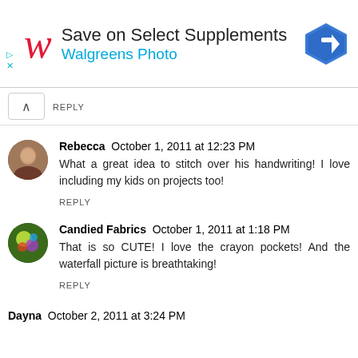[Figure (other): Walgreens advertisement banner: Save on Select Supplements, Walgreens Photo, with red W logo and blue diamond arrow icon]
REPLY
Rebecca  October 1, 2011 at 12:23 PM
What a great idea to stitch over his handwriting! I love including my kids on projects too!
REPLY
Candied Fabrics  October 1, 2011 at 1:18 PM
That is so CUTE! I love the crayon pockets! And the waterfall picture is breathtaking!
REPLY
Dayna  October 2, 2011 at 3:24 PM